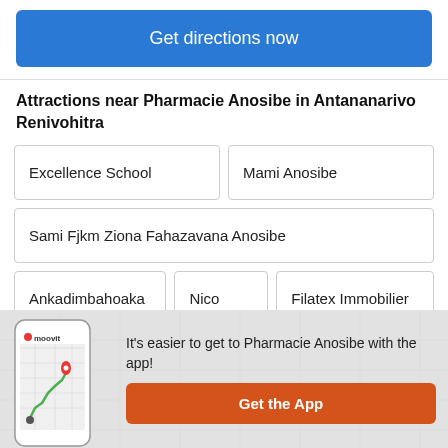Get directions now
Attractions near Pharmacie Anosibe in Antananarivo Renivohitra
Excellence School
Mami Anosibe
Sami Fjkm Ziona Fahazavana Anosibe
Ankadimbahoaka
Nico
Filatex Immobilier
It's easier to get to Pharmacie Anosibe with the app!
Get the App